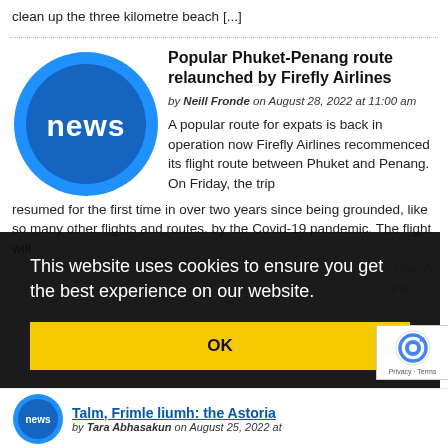clean up the three kilometre beach [...]
Popular Phuket-Penang route relaunched by Firefly Airlines
by Neill Fronde on August 28, 2022 at 11:00 am
[Figure (illustration): Blue circular news icon with the word 'news' in white text]
A popular route for expats is back in operation now Firefly Airlines recommenced its flight route between Phuket and Penang. On Friday, the trip resumed for the first time in over two years since being grounded, like so many other flights and routes, by the Covid-19 pandemic. The flight will
This website uses cookies to ensure you get the best experience on our website.
OK
[Figure (illustration): reCAPTCHA logo with text 'Privacy - Terms']
by Tara Abhasakun on August 25, 2022 at